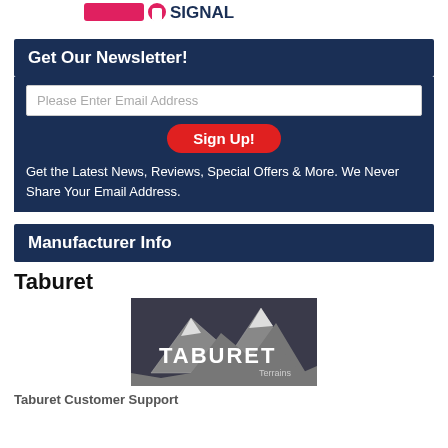[Figure (logo): Partial logo visible at top of page with pink/red and blue lettering]
Get Our Newsletter!
Please Enter Email Address
Sign Up!
Get the Latest News, Reviews, Special Offers & More. We Never Share Your Email Address.
Manufacturer Info
Taburet
[Figure (logo): Taburet Terrains logo: mountain graphic with TABURET text and Terrains subtitle on dark background]
Taburet Customer Support